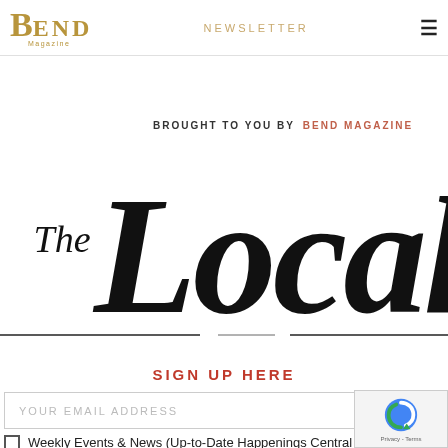Bend Magazine | NEWSLETTER
[Figure (logo): The Local newsletter logo - large script text 'The Local' with 'BROUGHT TO YOU BY BEND MAGAZINE' above]
SIGN UP HERE
YOUR EMAIL ADDRESS
Weekly Events & News (Up-to-Date Happenings Central Oregon)